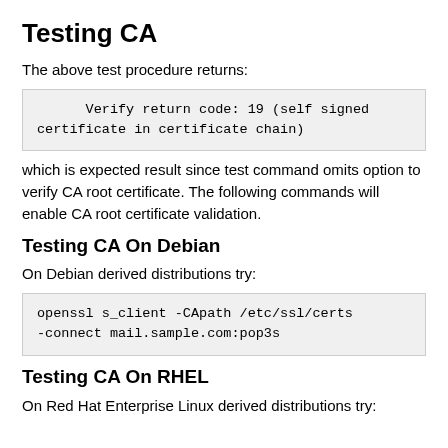Testing CA
The above test procedure returns:
Verify return code: 19 (self signed
certificate in certificate chain)
which is expected result since test command omits option to verify CA root certificate. The following commands will enable CA root certificate validation.
Testing CA On Debian
On Debian derived distributions try:
openssl s_client -CApath /etc/ssl/certs
-connect mail.sample.com:pop3s
Testing CA On RHEL
On Red Hat Enterprise Linux derived distributions try: